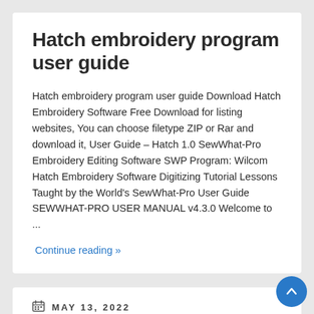Hatch embroidery program user guide
Hatch embroidery program user guide Download Hatch Embroidery Software Free Download for listing websites, You can choose filetype ZIP or Rar and download it, User Guide – Hatch 1.0 SewWhat-Pro Embroidery Editing Software SWP Program: Wilcom Hatch Embroidery Software Digitizing Tutorial Lessons Taught by the World's SewWhat-Pro User Guide SEWWHAT-PRO USER MANUAL v4.3.0 Welcome to ...
Continue reading »
MAY 13, 2022